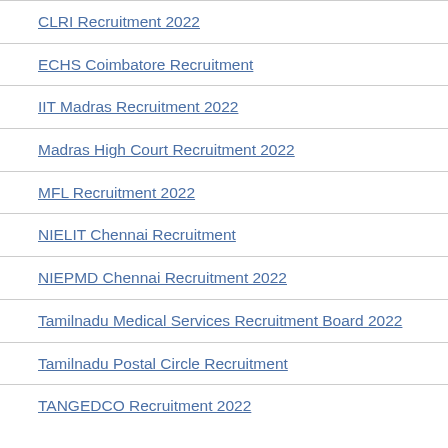CLRI Recruitment 2022
ECHS Coimbatore Recruitment
IIT Madras Recruitment 2022
Madras High Court Recruitment 2022
MFL Recruitment 2022
NIELIT Chennai Recruitment
NIEPMD Chennai Recruitment 2022
Tamilnadu Medical Services Recruitment Board 2022
Tamilnadu Postal Circle Recruitment
TANGEDCO Recruitment 2022